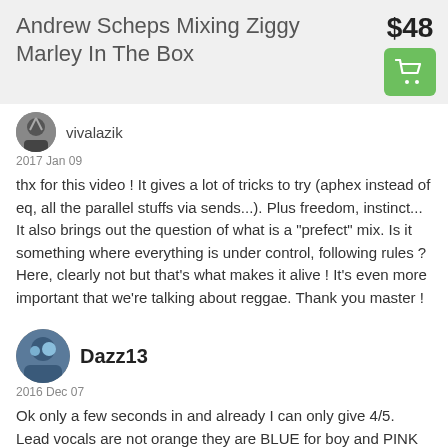Andrew Scheps Mixing Ziggy Marley In The Box
$48
vivalazik
2017 Jan 09
thx for this video ! It gives a lot of tricks to try (aphex instead of eq, all the parallel stuffs via sends...). Plus freedom, instinct... It also brings out the question of what is a "prefect" mix. Is it something where everything is under control, following rules ? Here, clearly not but that's what makes it alive ! It's even more important that we're talking about reggae. Thank you master !
Dazz13
2016 Dec 07
Ok only a few seconds in and already I can only give 4/5. Lead vocals are not orange they are BLUE for boy and PINK for girl. Also Bass is GREEN, Drums are NAVY/BLACK that's ok.